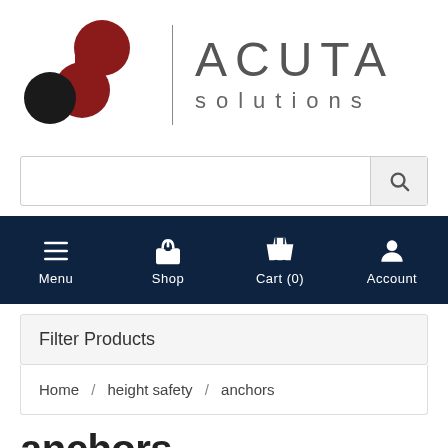[Figure (logo): Acuta Solutions logo with abstract S-shaped icon in dark red and black, vertical divider line, and company name 'ACUTA solutions']
[Figure (screenshot): Search input bar with magnifying glass icon on the right]
[Figure (infographic): Dark navy navigation bar with four icons: Menu (hamburger), Shop (gift box), Cart (0) (shopping cart), Account (person silhouette)]
Filter Products
Home / height safety / anchors
anchors